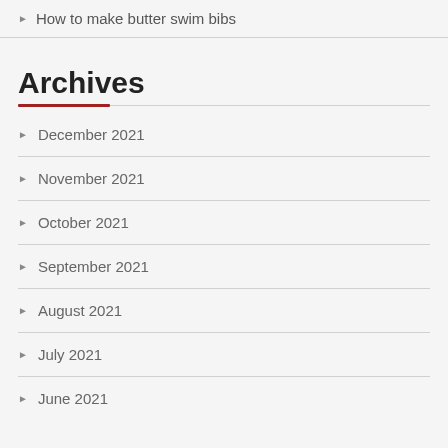How to make butter swim bibs
Archives
December 2021
November 2021
October 2021
September 2021
August 2021
July 2021
June 2021